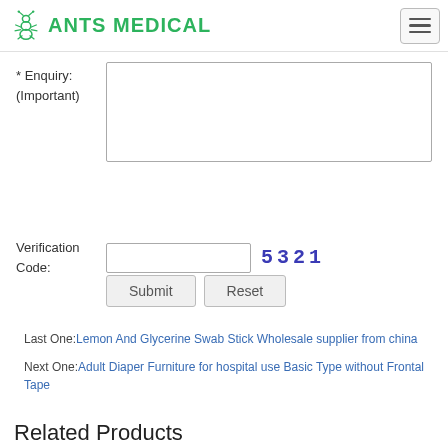ANTS MEDICAL
* Enquiry: (Important)
Verification Code: 5321
Submit Reset
Last One: Lemon And Glycerine Swab Stick Wholesale supplier from china
Next One: Adult Diaper Furniture for hospital use Basic Type without Frontal Tape
Related Products